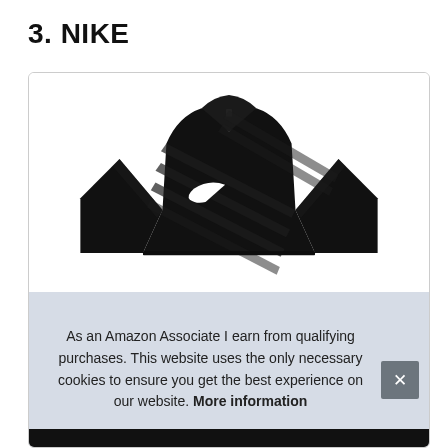3. NIKE
[Figure (photo): Black Nike soccer/football jersey with white Nike swoosh logo and diagonal stripe pattern, shown from front torso view on white background inside a bordered product card.]
As an Amazon Associate I earn from qualifying purchases. This website uses the only necessary cookies to ensure you get the best experience on our website. More information